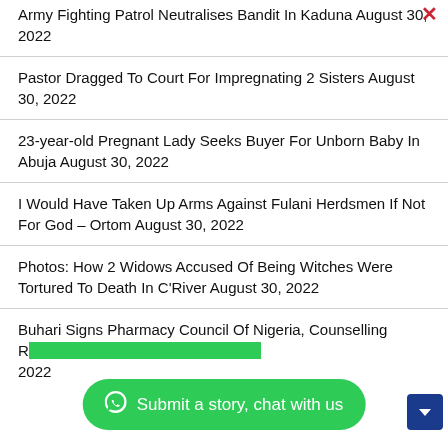Army Fighting Patrol Neutralises Bandit In Kaduna August 30, 2022
Pastor Dragged To Court For Impregnating 2 Sisters August 30, 2022
23-year-old Pregnant Lady Seeks Buyer For Unborn Baby In Abuja August 30, 2022
I Would Have Taken Up Arms Against Fulani Herdsmen If Not For God – Ortom August 30, 2022
Photos: How 2 Widows Accused Of Being Witches Were Tortured To Death In C'River August 30, 2022
Buhari Signs Pharmacy Council Of Nigeria, Counselling R… 2022